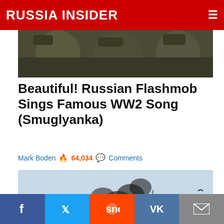RUSSIA INSIDER
[Figure (photo): Partial cropped photo at top of page showing people in military/camouflage clothing]
Beautiful! Russian Flashmob Sings Famous WW2 Song (Smuglyanka)
Mark Boden 🔥 64,034 💬 Comments
[Figure (photo): Photo of a large ship on fire at sea with explosions and black smoke]
How Long Would the US Navy Survive in a Shooting...